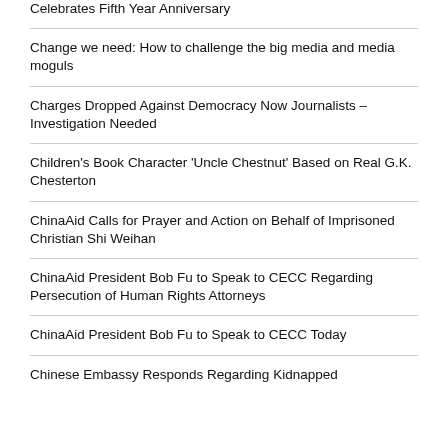Celebrates Fifth Year Anniversary
Change we need: How to challenge the big media and media moguls
Charges Dropped Against Democracy Now Journalists – Investigation Needed
Children's Book Character 'Uncle Chestnut' Based on Real G.K. Chesterton
ChinaAid Calls for Prayer and Action on Behalf of Imprisoned Christian Shi Weihan
ChinaAid President Bob Fu to Speak to CECC Regarding Persecution of Human Rights Attorneys
ChinaAid President Bob Fu to Speak to CECC Today
Chinese Embassy Responds Regarding Kidnapped